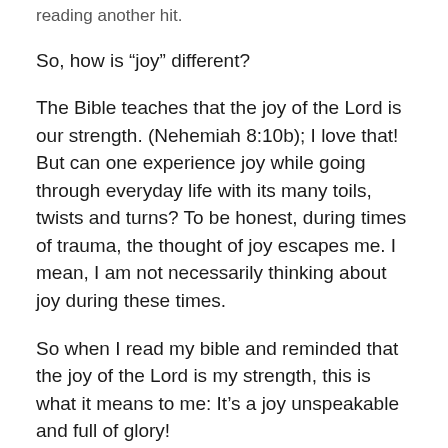reading another hit.
So, how is “joy” different?
The Bible teaches that the joy of the Lord is our strength. (Nehemiah 8:10b); I love that! But can one experience joy while going through everyday life with its many toils, twists and turns? To be honest, during times of trauma, the thought of joy escapes me. I mean, I am not necessarily thinking about joy during these times.
So when I read my bible and reminded that the joy of the Lord is my strength, this is what it means to me: It’s a joy unspeakable and full of glory!
I may not be able to explain it, put my finger on it, or even see it. But I know it’s there – I know it in my knower. (Bear with me please, I’m fully aware this isn’t “correct” English.) But it is that I know, that I know, that I know of a certain kind of